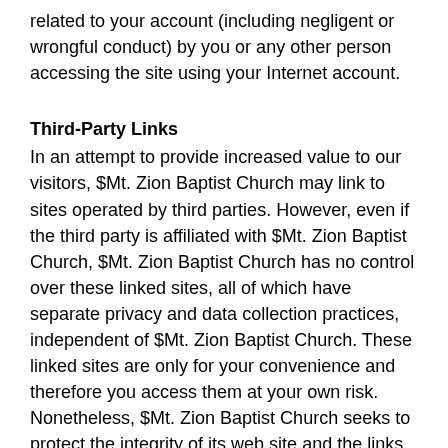related to your account (including negligent or wrongful conduct) by you or any other person accessing the site using your Internet account.
Third-Party Links
In an attempt to provide increased value to our visitors, $Mt. Zion Baptist Church may link to sites operated by third parties. However, even if the third party is affiliated with $Mt. Zion Baptist Church, $Mt. Zion Baptist Church has no control over these linked sites, all of which have separate privacy and data collection practices, independent of $Mt. Zion Baptist Church. These linked sites are only for your convenience and therefore you access them at your own risk. Nonetheless, $Mt. Zion Baptist Church seeks to protect the integrity of its web site and the links placed upon it and therefore requests any feedback on not only its own site, but for sites it links to as well (including if a specific link does not work).